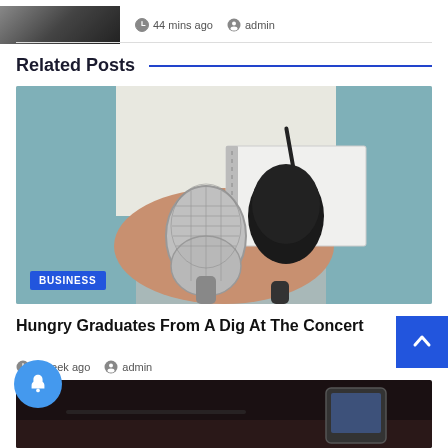44 mins ago  admin
Related Posts
[Figure (photo): Person in light blue jacket holding microphones and a spiral notebook, journalist scene]
BUSINESS
Hungry Graduates From A Dig At The Concert
1 week ago  admin
[Figure (photo): Dark bottom strip image, appears to show a smartphone on a dark surface]